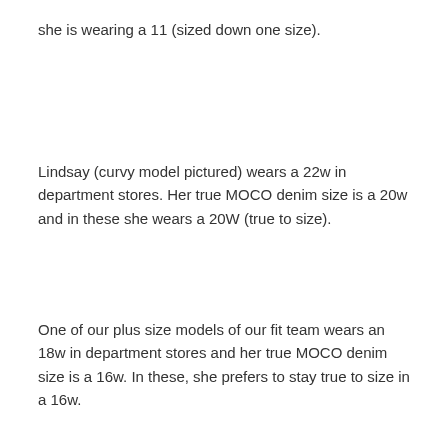she is wearing a 11 (sized down one size).
Lindsay (curvy model pictured) wears a 22w in department stores. Her true MOCO denim size is a 20w and in these she wears a 20W (true to size).
One of our plus size models of our fit team wears an 18w in department stores and her true MOCO denim size is a 16w. In these, she prefers to stay true to size in a 16w.